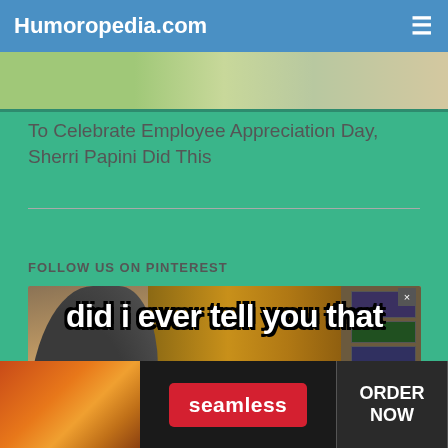Humoropedia.com
[Figure (photo): Partial photo strip showing people, cropped at top of page]
To Celebrate Employee Appreciation Day, Sherri Papini Did This
FOLLOW US ON PINTEREST
[Figure (photo): Meme image of a dog (golden retriever) with text 'did i ever tell you that' in bold white letters with black outline. Background shows bookshelf and wooden door. Left side shows dark rounded shape.]
[Figure (photo): Seamless food delivery advertisement banner with pizza image on left, red Seamless button in center, and ORDER NOW button on right with close X]